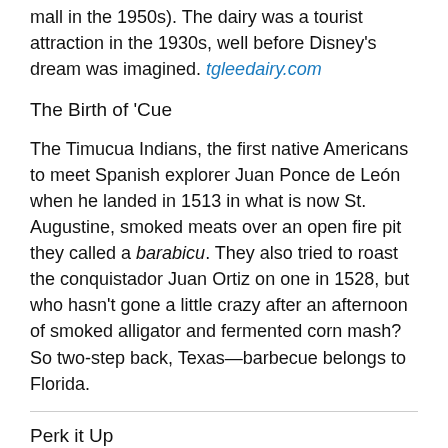mail in the 1950s). The dairy was a tourist attraction in the 1930s, well before Disney's dream was imagined. tgleedairy.com
The Birth of ‘Cue
The Timucua Indians, the first native Americans to meet Spanish explorer Juan Ponce de León when he landed in 1513 in what is now St. Augustine, smoked meats over an open fire pit they called a barabicu. They also tried to roast the conquistador Juan Ortiz on one in 1528, but who hasn’t gone a little crazy after an afternoon of smoked alligator and fermented corn mash? So two-step back, Texas—barbecue belongs to Florida.
Perk it Up